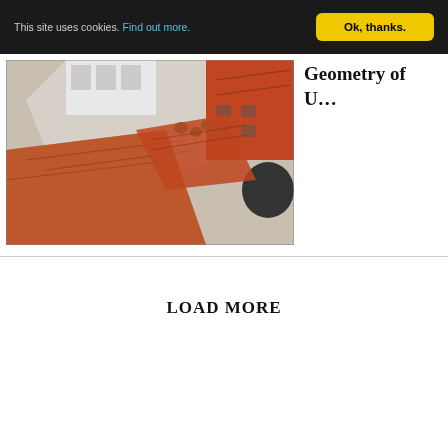This site uses cookies. Find out more.
Ok, thanks.
[Figure (photo): Aerial/top-down view of an old European town with terracotta/red-tiled rooftops, a stone plaza, and some green trees. Buildings with orange and brown roofs visible from above.]
Geometry of U…
LOAD MORE